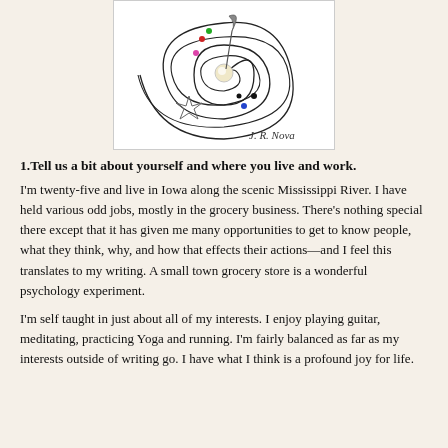[Figure (illustration): A spiral/labyrinth illustration with decorative elements: concentric spiral lines, a central glowing orb or pearl, colored dots (red, pink, green, blue, black), a quill pen, and a compass or star shape. Signed 'J. R. Nova' in the lower right corner.]
1.Tell us a bit about yourself and where you live and work.
I'm twenty-five and live in Iowa along the scenic Mississippi River. I have held various odd jobs, mostly in the grocery business. There's nothing special there except that it has given me many opportunities to get to know people, what they think, why, and how that effects their actions—and I feel this translates to my writing. A small town grocery store is a wonderful psychology experiment.
I'm self taught in just about all of my interests. I enjoy playing guitar, meditating, practicing Yoga and running. I'm fairly balanced as far as my interests outside of writing go. I have what I think is a profound joy for life.